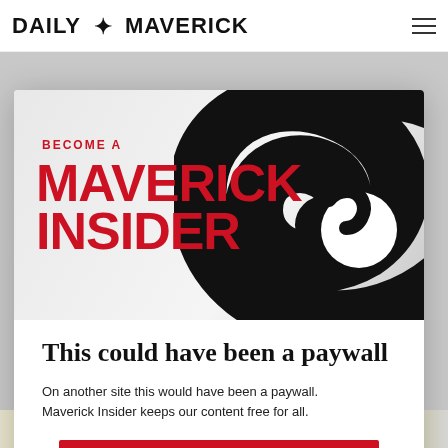DAILY MAVERICK
[Figure (illustration): Maverick Insider promotional modal with large swirl/spiral graphic in black and white on upper right, red text reading BECOME A MAVERICK INSIDER on the left]
This could have been a paywall
On another site this would have been a paywall. Maverick Insider keeps our content free for all.
Become an Insider